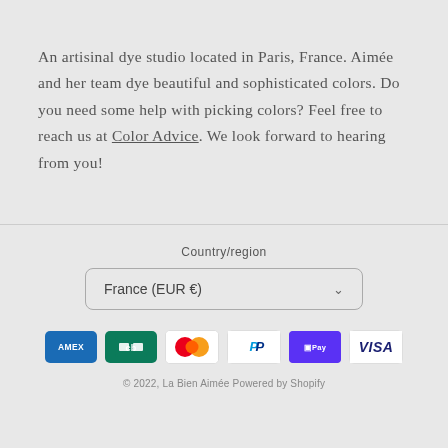An artisinal dye studio located in Paris, France. Aimée and her team dye beautiful and sophisticated colors. Do you need some help with picking colors? Feel free to reach us at Color Advice. We look forward to hearing from you!
Country/region
France (EUR €)
[Figure (infographic): Payment method icons: American Express, Carte Bleue, Mastercard, PayPal, Shop Pay, Visa]
© 2022, La Bien Aimée Powered by Shopify